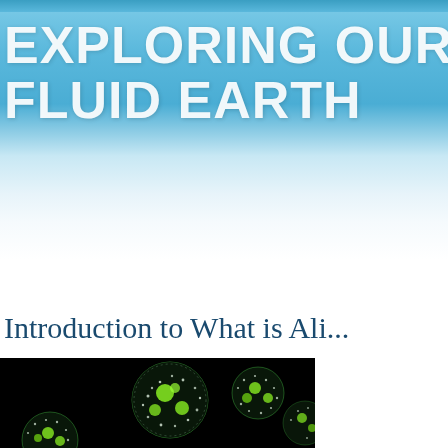[Figure (photo): Website header with ocean/water background image, light blue gradient fading to white]
EXPLORING OUR FLUID EARTH
Home > Biological (182) > What is Alive (23) > Introduction to Wha...
Introduction to What is Ali...
[Figure (photo): Close-up microscope image of Volvox algae colonies on a black background, showing green spherical colonies with white dots pattern]